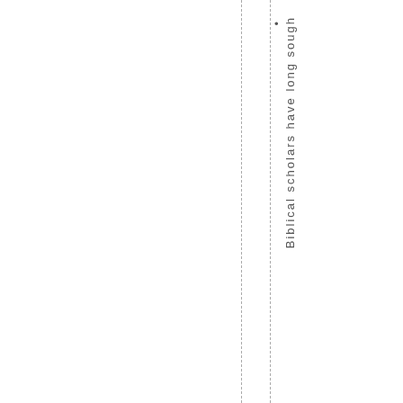Biblical scholars have long sought h